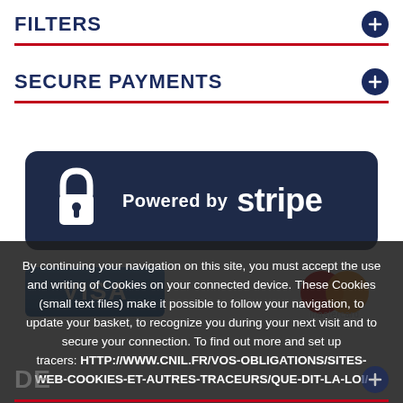FILTERS
SECURE PAYMENTS
[Figure (infographic): Powered by Stripe banner with lock icon on dark navy background]
[Figure (infographic): Payment card logos row: Visa, Mastercard, CB, 3D Secure]
By continuing your navigation on this site, you must accept the use and writing of Cookies on your connected device. These Cookies (small text files) make it possible to follow your navigation, to update your basket, to recognize you during your next visit and to secure your connection. To find out more and set up tracers: HTTP://WWW.CNIL.FR/VOS-OBLIGATIONS/SITES-WEB-COOKIES-ET-AUTRES-TRACEURS/QUE-DIT-LA-LOI/
DE…